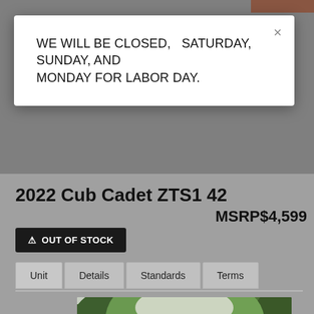WE WILL BE CLOSED,  SATURDAY, SUNDAY, AND MONDAY FOR LABOR DAY.
2022 Cub Cadet ZTS1 42
MSRP$4,599
⚠ OUT OF STOCK
Unit | Details | Standards | Terms
[Figure (photo): Person riding a yellow zero-turn mower in a green outdoor setting with trees in background]